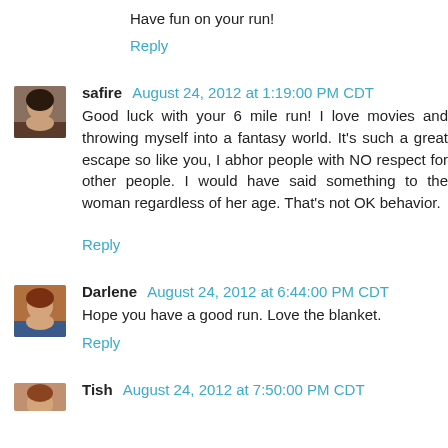Have fun on your run!
Reply
safire August 24, 2012 at 1:19:00 PM CDT
Good luck with your 6 mile run! I love movies and throwing myself into a fantasy world. It's such a great escape so like you, I abhor people with NO respect for other people. I would have said something to the woman regardless of her age. That's not OK behavior.
Reply
Darlene August 24, 2012 at 6:44:00 PM CDT
Hope you have a good run. Love the blanket.
Reply
Tish August 24, 2012 at 7:50:00 PM CDT